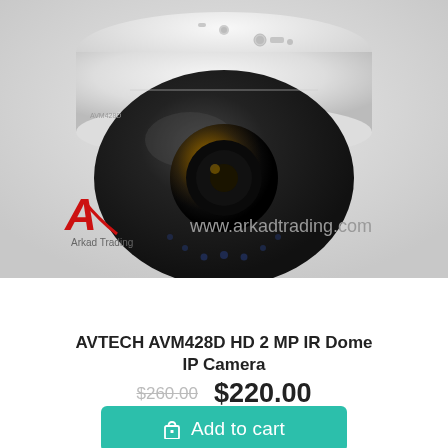[Figure (photo): AVTECH AVM428D HD 2 MP IR Dome IP Camera — white dome security camera with dark tinted dome and infrared LEDs visible at base, photographed from slightly below against white background. Arkad Trading logo and www.arkadtrading.com watermark overlaid at bottom of image.]
AVTECH AVM428D HD 2 MP IR Dome IP Camera
$260.00  $220.00
Add to cart